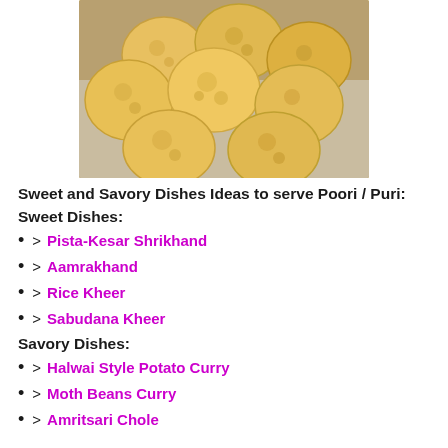[Figure (photo): Overhead photo of golden fried puri/poori bread piled in a basket on a grey cloth]
Sweet and Savory Dishes Ideas to serve Poori / Puri:
Sweet Dishes:
> Pista-Kesar Shrikhand
> Aamrakhand
> Rice Kheer
> Sabudana Kheer
Savory Dishes:
> Halwai Style Potato Curry
> Moth Beans Curry
> Amritsari Chole